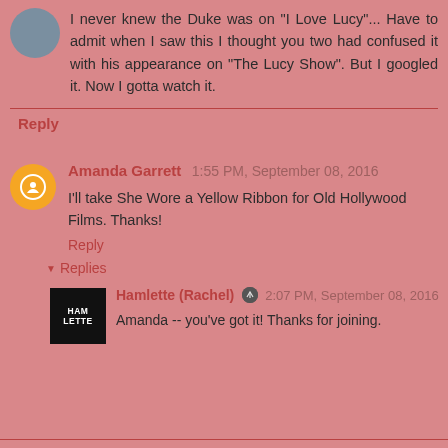I never knew the Duke was on "I Love Lucy"... Have to admit when I saw this I thought you two had confused it with his appearance on "The Lucy Show". But I googled it. Now I gotta watch it.
Reply
Amanda Garrett 1:55 PM, September 08, 2016
I'll take She Wore a Yellow Ribbon for Old Hollywood Films. Thanks!
Reply
Replies
Hamlette (Rachel) 2:07 PM, September 08, 2016
Amanda -- you've got it! Thanks for joining.